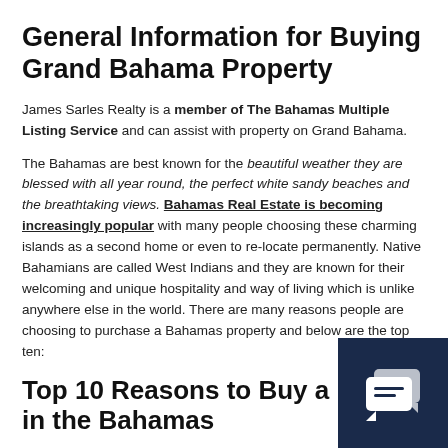General Information for Buying Grand Bahama Property
James Sarles Realty is a member of The Bahamas Multiple Listing Service and can assist with property on Grand Bahama.
The Bahamas are best known for the beautiful weather they are blessed with all year round, the perfect white sandy beaches and the breathtaking views. Bahamas Real Estate is becoming increasingly popular with many people choosing these charming islands as a second home or even to re-locate permanently. Native Bahamians are called West Indians and they are known for their welcoming and unique hospitality and way of living which is unlike anywhere else in the world. There are many reasons people are choosing to purchase a Bahamas property and below are the top ten:
Top 10 Reasons to Buy a Home in the Bahamas
The Bahamas are a tax free zone, which has being a favorite for investment and residency of business executives.